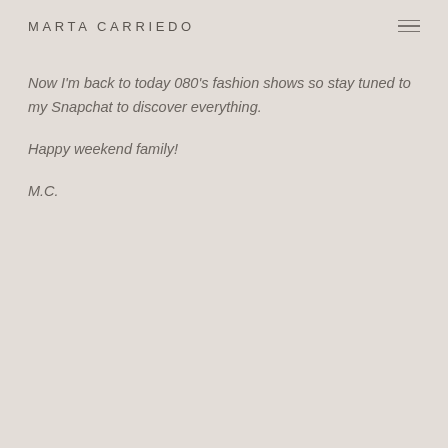MARTA CARRIEDO
Now I'm back to today 080's fashion shows so stay tuned to my Snapchat to discover everything.
Happy weekend family!
M.C.